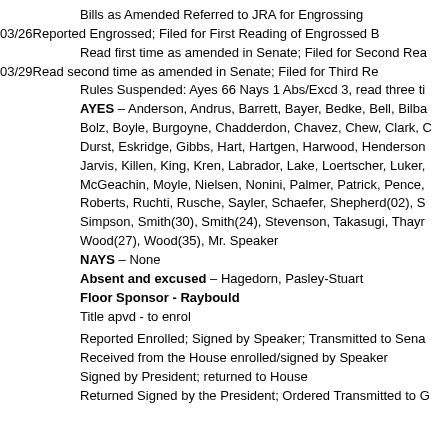Bills as Amended Referred to JRA for Engrossing
03/26Reported Engrossed; Filed for First Reading of Engrossed B
Read first time as amended in Senate; Filed for Second Rea
03/29Read second time as amended in Senate; Filed for Third Re
Rules Suspended: Ayes 66 Nays 1 Abs/Excd 3, read three ti
AYES – Anderson, Andrus, Barrett, Bayer, Bedke, Bell, Bilba
Bolz, Boyle, Burgoyne, Chadderdon, Chavez, Chew, Clark, C
Durst, Eskridge, Gibbs, Hart, Hartgen, Harwood, Henderson
Jarvis, Killen, King, Kren, Labrador, Lake, Loertscher, Luker,
McGeachin, Moyle, Nielsen, Nonini, Palmer, Patrick, Pence,
Roberts, Ruchti, Rusche, Sayler, Schaefer, Shepherd(02), S
Simpson, Smith(30), Smith(24), Stevenson, Takasugi, Thayr
Wood(27), Wood(35), Mr. Speaker
NAYS – None
Absent and excused – Hagedorn, Pasley-Stuart
Floor Sponsor - Raybould
Title apvd - to enrol
Reported Enrolled; Signed by Speaker; Transmitted to Sena
Received from the House enrolled/signed by Speaker
Signed by President; returned to House
Returned Signed by the President; Ordered Transmitted to G